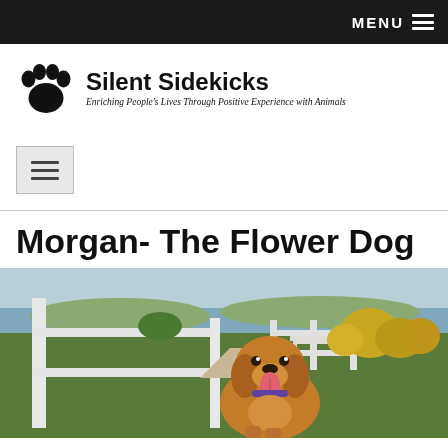MENU ☰
[Figure (logo): Silent Sidekicks logo with paw print icon, site name 'Silent Sidekicks', and tagline 'Enriching People's Lives Through Positive Experience with Animals']
Morgan- The Flower Dog
[Figure (photo): Golden retriever dog sitting outdoors near a white fence with a lake and yellow flowering bushes in the background. The dog has its tongue out and appears to be smiling.]